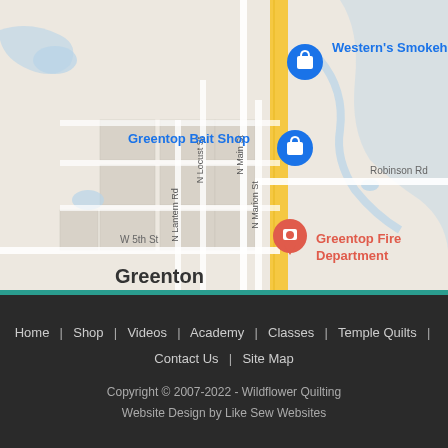[Figure (map): Google Maps screenshot showing Greentop, Missouri area. Visible landmarks include Western's Smokehouse (blue pin, top right), Greentop Bait Shop (blue pin, center), Greentop Fire Department (red pin, bottom center). Streets visible include N Main St, N Locust St, N Marion St, N Lantern Rd, Robinson Rd, W 5th St. A yellow highway runs vertically through the center-right of the map.]
Home | Shop | Videos | Academy | Classes | Temple Quilts | Contact Us | Site Map
Copyright © 2007-2022 - Wildflower Quilting
Website Design by Like Sew Websites